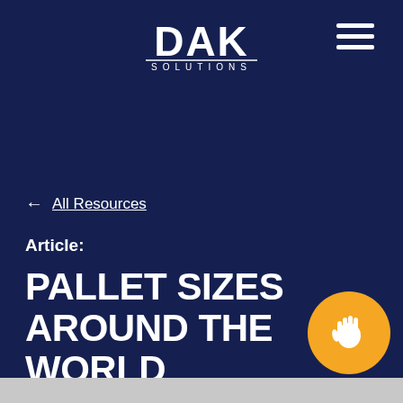[Figure (logo): DAK Solutions white logo on dark navy background]
[Figure (other): Hamburger menu icon (three horizontal white lines) in top right corner]
← All Resources
Article:
PALLET SIZES AROUND THE WORLD
[Figure (other): Orange circular chat/contact button with white hand wave icon in bottom right corner]